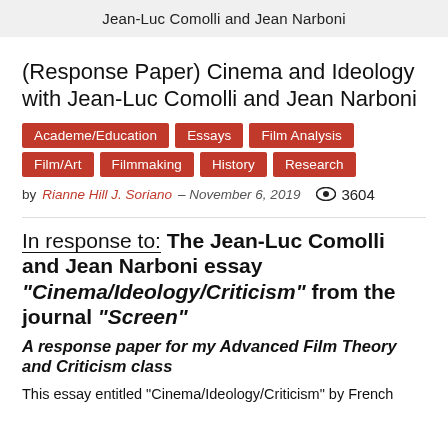Jean-Luc Comolli and Jean Narboni
(Response Paper) Cinema and Ideology with Jean-Luc Comolli and Jean Narboni
Academe/Education
Essays
Film Analysis
Film/Art
Filmmaking
History
Research
by Rianne Hill J. Soriano – November 6, 2019   3604
In response to: The Jean-Luc Comolli and Jean Narboni essay “Cinema/Ideology/Criticism” from the journal “Screen”
A response paper for my Advanced Film Theory and Criticism class
This essay entitled “Cinema/Ideology/Criticism” by French